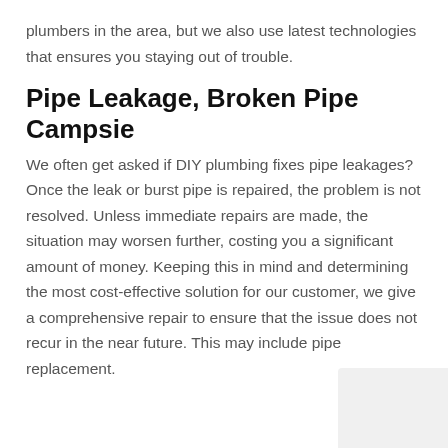plumbers in the area, but we also use latest technologies that ensures you staying out of trouble.
Pipe Leakage, Broken Pipe Campsie
We often get asked if DIY plumbing fixes pipe leakages? Once the leak or burst pipe is repaired, the problem is not resolved. Unless immediate repairs are made, the situation may worsen further, costing you a significant amount of money. Keeping this in mind and determining the most cost-effective solution for our customer, we give a comprehensive repair to ensure that the issue does not recur in the near future. This may include pipe replacement.